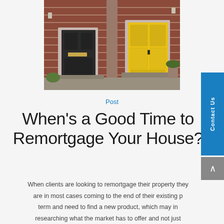[Figure (photo): Two front doors of a brick terraced house — one dark/black door on the left and one bright yellow door on the right, with potted plants and stone steps]
Post
When's a Good Time to Remortgage Your House?
When clients are looking to remortgage their property they are in most cases coming to the end of their existing product term and need to find a new product, which may involve researching what the market has to offer and not just accepting a product from their existing lender. Many clients